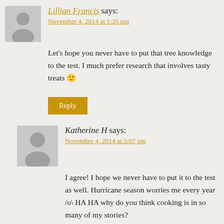Lillian Francis says:
November 4, 2014 at 1:35 pm
Let's hope you never have to put that tree knowledge to the test. I much prefer research that involves tasty treats 🙂
Reply
Katherine H says:
November 4, 2014 at 5:07 pm
I agree! I hope we never have to put it to the test as well. Hurricane season worries me every year /o\ HA HA why do you think cooking is in so many of my stories?
Thanks for the comment and for stopping by!